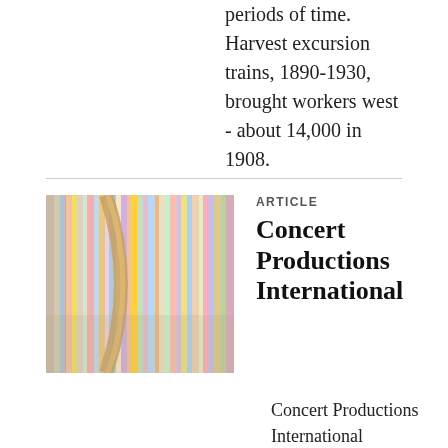periods of time. Harvest excursion trains, 1890-1930, brought workers west - about 14,000 in 1908.
[Figure (photo): Colorful rows of vinyl records or books seen from the side, with a curved metallic rack or spine visible in the foreground.]
ARTICLE
Concert Productions International
Concert Productions International (familiarly, CPI). Major promoter of rock concerts and tours in North America. It was established in Toronto in 1973 as a subsidiary